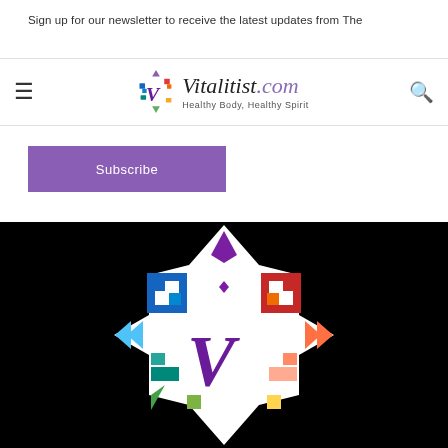Sign up for our newsletter to receive the latest updates from The
[Figure (logo): Vitalitist.com logo with mandala-style V icon and tagline 'Healthy Body, Healthy Spirit']
Subscribe
[Figure (logo): Large Vitalitist mandala logo on black background - colorful geometric star pattern with purple V in center]